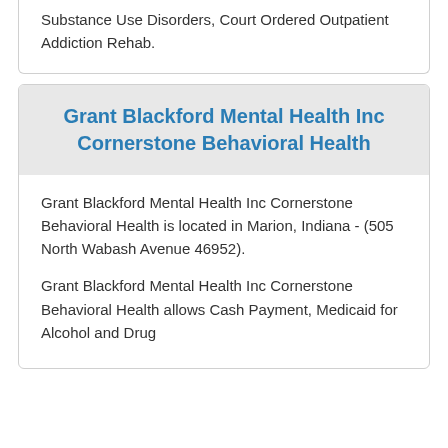Substance Use Disorders, Court Ordered Outpatient Addiction Rehab.
Grant Blackford Mental Health Inc Cornerstone Behavioral Health
Grant Blackford Mental Health Inc Cornerstone Behavioral Health is located in Marion, Indiana - (505 North Wabash Avenue 46952).
Grant Blackford Mental Health Inc Cornerstone Behavioral Health allows Cash Payment, Medicaid for Alcohol and Drug